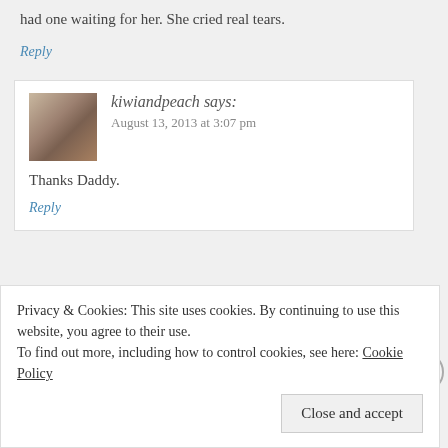had one waiting for her. She cried real tears.
Reply
kiwiandpeach says:
August 13, 2013 at 3:07 pm
Thanks Daddy.
Reply
Leave a Reply to kiwiandpeach Cancel reply
Your email address will not be published. Required fields are marked *
Comment *
Privacy & Cookies: This site uses cookies. By continuing to use this website, you agree to their use.
To find out more, including how to control cookies, see here: Cookie Policy
Close and accept